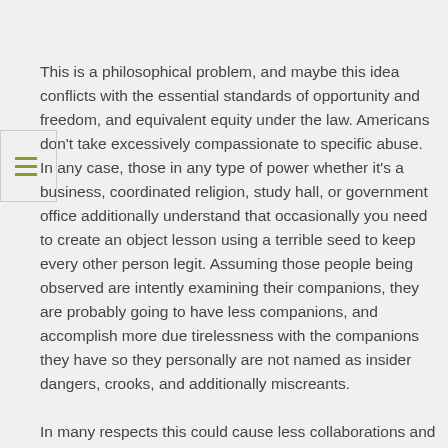This is a philosophical problem, and maybe this idea conflicts with the essential standards of opportunity and freedom, and equivalent equity under the law. Americans don't take excessively compassionate to specific abuse. In any case, those in any type of power whether it's a business, coordinated religion, study hall, or government office additionally understand that occasionally you need to create an object lesson using a terrible seed to keep every other person legit. Assuming those people being observed are intently examining their companions, they are probably going to have less companions, and accomplish more due tirelessness with the companions they have so they personally are not named as insider dangers, crooks, and additionally miscreants.
In many respects this could cause less collaborations and less correspondence on the web, it would control the voice and the